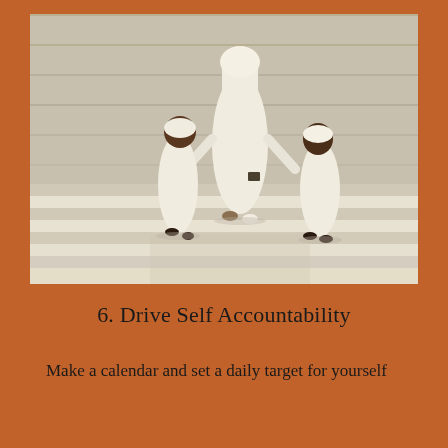[Figure (photo): A tall adult in white traditional Middle Eastern robe and headdress walking away from camera, holding hands with two young children also dressed in white, on a wide light-colored marble or stone plaza with horizontal striped floor pattern and pale stone wall in background.]
6. Drive Self Accountability
Make a calendar and set a daily target for yourself